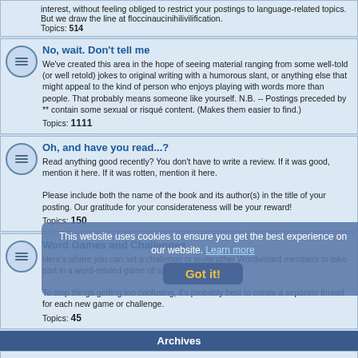Topics: 514
No, wait. Don't tell me
We've created this area in the hope of seeing material ranging from some well-told (or well retold) jokes to original writing with a humorous slant, or anything else that might appeal to the kind of person who enjoys playing with words more than people. That probably means someone like yourself. N.B. -- Postings preceded by ** contain some sexual or risqué content. (Makes them easier to find.) Topics: 1111
Oh, and have you read...?
Read anything good recently? You don't have to write a review. If it was good, mention it here. If it was rotten, mention it here.

Please include both the name of the book and its author(s) in the title of your posting. Our gratitude for your considerateness will be your reward! Topics: 150
Word Games and Challenges
Here's where you can set a challenge or invite other Wordwizard members to take part in a word-related game of some kind.

To stop things getting too confusing, it's probably best to create a separate thread for each new game or challenge. Topics: 45
Archives
Usage and Writing Archive
This formerly read-only archive of threads dates back to 1996, but as of March 2007 is open to new postings. For technical reasons, the early dates shown do not accurately reflect the actual date of posting.